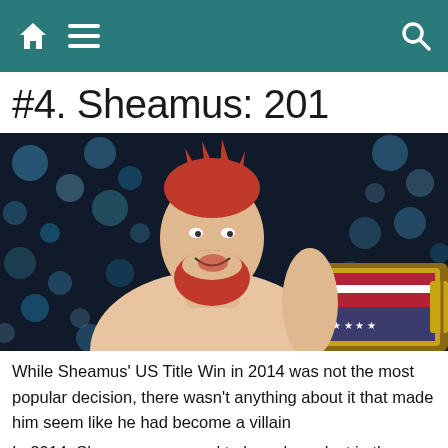Navigation bar with home, menu, and search icons
#4. Sheamus: 201
[Figure (photo): Sheamus (WWE wrestler with red hair and beard) smiling and holding a US Championship belt, with arena lights in the background]
While Sheamus' US Title Win in 2014 was not the most popular decision, there wasn't anything about it that made him seem like he had become a villain
In 2014, Sheamus appeared to have been lost in the shuffle.